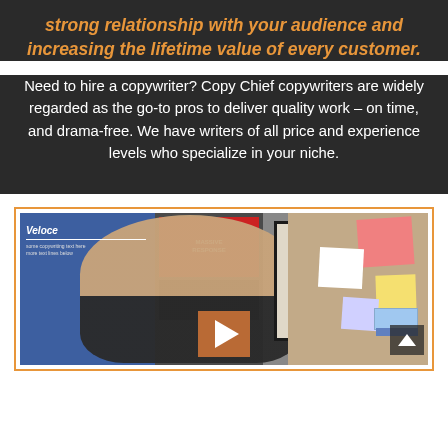strong relationship with your audience and increasing the lifetime value of every customer.
Need to hire a copywriter? Copy Chief copywriters are widely regarded as the go-to pros to deliver quality work – on time, and drama-free. We have writers of all price and experience levels who specialize in your niche.
[Figure (screenshot): Video thumbnail showing a man's face close-up in the center, a blue board on the left, a framed document, a corkboard with sticky notes on the right, and a play button overlay at the bottom center. Orange border around the video frame.]